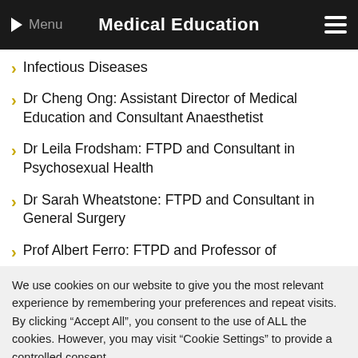Medical Education
Infectious Diseases
Dr Cheng Ong: Assistant Director of Medical Education and Consultant Anaesthetist
Dr Leila Frodsham: FTPD and Consultant in Psychosexual Health
Dr Sarah Wheatstone: FTPD and Consultant in General Surgery
Prof Albert Ferro: FTPD and Professor of
We use cookies on our website to give you the most relevant experience by remembering your preferences and repeat visits. By clicking "Accept All", you consent to the use of ALL the cookies. However, you may visit "Cookie Settings" to provide a controlled consent.